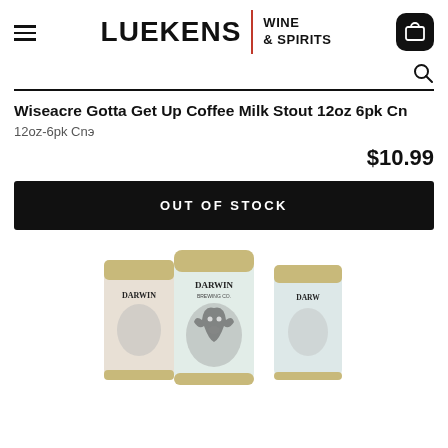LUEKENS WINE & SPIRITS
Wiseacre Gotta Get Up Coffee Milk Stout 12oz 6pk Cn
12oz-6pk Cnэ
$10.99
OUT OF STOCK
[Figure (photo): Six-pack of Darwin branded beer cans with illustrated moose/deer character design, gold tops, white and teal cans]